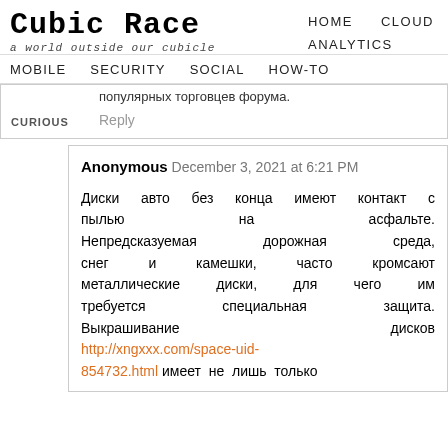Cubic Race — a world outside our cubicle | HOME | CLOUD | ANALYTICS
MOBILE | SECURITY | SOCIAL | HOW-TO
популярных торговцев форума.
Reply
Anonymous December 3, 2021 at 6:21 PM
Диски авто без конца имеют контакт с пылью на асфальте. Непредсказуемая дорожная среда, снег и камешки, часто кромсают металлические диски, для чего им требуется специальная защита. Выкрашивание дисков http://xngxxx.com/space-uid-854732.html имеет не лишь только